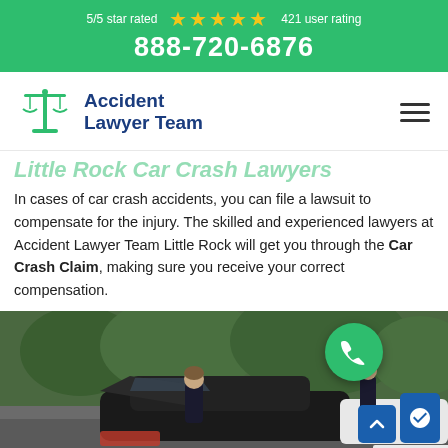5/5 star rated ★★★★★ 421 user rating
888-720-6876
[Figure (logo): Accident Lawyer Team logo with green scales of justice icon]
Little Rock Car Crash Lawyers
In cases of car crash accidents, you can file a lawsuit to compensate for the injury. The skilled and experienced lawyers at Accident Lawyer Team Little Rock will get you through the Car Crash Claim, making sure you receive your correct compensation.
[Figure (photo): Two people in suits examining a car crash scene outdoors with trees in background. A green phone call button overlay is visible.]